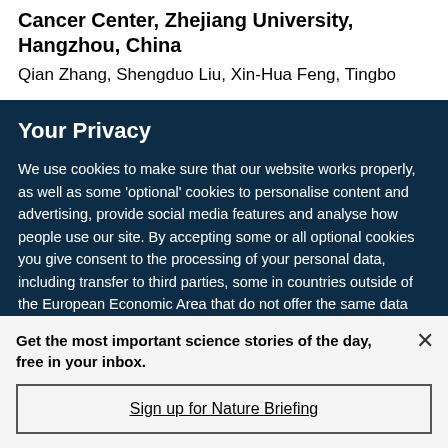Cancer Center, Zhejiang University, Hangzhou, China
Qian Zhang, Shengduo Liu, Xin-Hua Feng, Tingbo
Your Privacy
We use cookies to make sure that our website works properly, as well as some ‘optional’ cookies to personalise content and advertising, provide social media features and analyse how people use our site. By accepting some or all optional cookies you give consent to the processing of your personal data, including transfer to third parties, some in countries outside of the European Economic Area that do not offer the same data protection standards as the country where you live. You can decide which optional cookies to accept by clicking on ‘Manage Settings’, where you can
Get the most important science stories of the day, free in your inbox.
Sign up for Nature Briefing